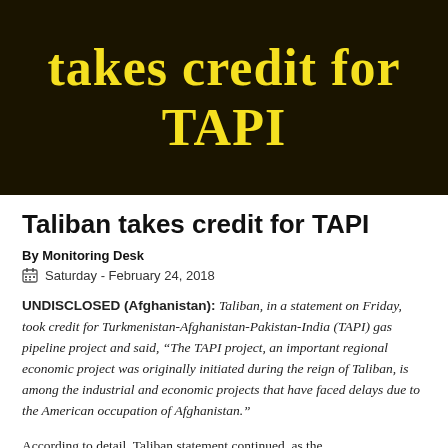[Figure (illustration): Dark brown/black background banner with yellow handwritten-style text reading 'takes credit for TAPI']
Taliban takes credit for TAPI
By Monitoring Desk
Saturday - February 24, 2018
UNDISCLOSED (Afghanistan): Taliban, in a statement on Friday, took credit for Turkmenistan-Afghanistan-Pakistan-India (TAPI) gas pipeline project and said, “The TAPI project, an important regional economic project was originally initiated during the reign of Taliban, is among the industrial and economic projects that have faced delays due to the American occupation of Afghanistan.”
According to detail, Taliban statement continued, as the